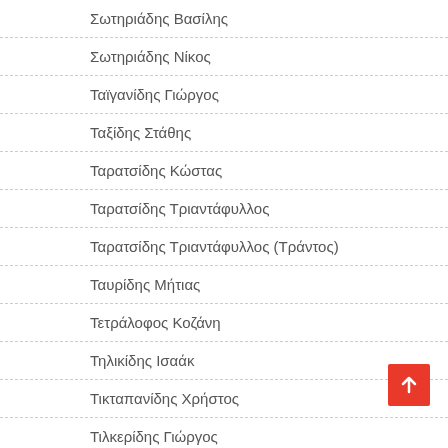Σωτηριάδης Βασίλης
Σωτηριάδης Νίκος
Ταϊγανίδης Γιώργος
Ταξίδης Στάθης
Ταρατσίδης Κώστας
Ταρατσίδης Τριαντάφυλλος
Ταρατσίδης Τριαντάφυλλος (Τράντος)
Ταυρίδης Μήτιας
Τετράλοφος Κοζάνη
Τηλικίδης Ισαάκ
Τικταπανίδης Χρήστος
Τιλκερίδης Γιώργος